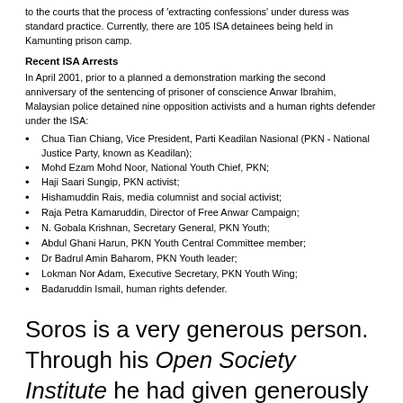to the courts that the process of 'extracting confessions' under duress was standard practice. Currently, there are 105 ISA detainees being held in Kamunting prison camp.
Recent ISA Arrests
In April 2001, prior to a planned a demonstration marking the second anniversary of the sentencing of prisoner of conscience Anwar Ibrahim, Malaysian police detained nine opposition activists and a human rights defender under the ISA:
Chua Tian Chiang, Vice President, Parti Keadilan Nasional (PKN - National Justice Party, known as Keadilan);
Mohd Ezam Mohd Noor, National Youth Chief, PKN;
Haji Saari Sungip, PKN activist;
Hishamuddin Rais, media columnist and social activist;
Raja Petra Kamaruddin, Director of Free Anwar Campaign;
N. Gobala Krishnan, Secretary General, PKN Youth;
Abdul Ghani Harun, PKN Youth Central Committee member;
Dr Badrul Amin Baharom, PKN Youth leader;
Lokman Nor Adam, Executive Secretary, PKN Youth Wing;
Badaruddin Ismail, human rights defender.
Soros is a very generous person. Through his Open Society Institute he had given generously to both the colour revolution in Eastern Europe as well as the Arab Springs of North Africa and the Middle East. Since then 65,000 people have been killed in Syria; 435,000 are internally displaced in Libya while 2.5 million have left the country through migration or by becoming refugees; about 2,000 died in Egypt. Soros has also been funding the